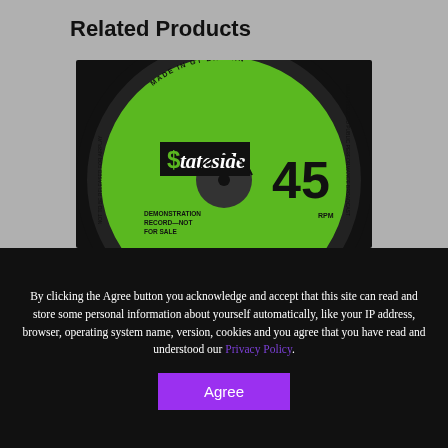Related Products
[Figure (photo): Close-up photo of a green Stateside Records 45 RPM vinyl record label. The label reads 'MADE IN GT BRITAIN', 'Stateside', '45 RPM', and 'DEMONSTRATION RECORD — NOT FOR SALE'.]
By clicking the Agree button you acknowledge and accept that this site can read and store some personal information about yourself automatically, like your IP address, browser, operating system name, version, cookies and you agree that you have read and understood our Privacy Policy.
Agree